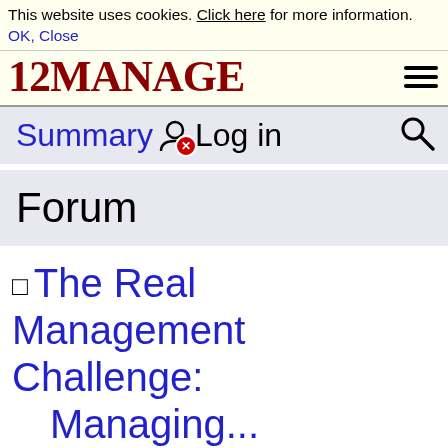This website uses cookies. Click here for more information. OK, Close
[Figure (logo): 12MANAGE logo in dark red serif font with hamburger menu icon]
Summary
Log in
Forum
The Real Management Challenge: Managing...